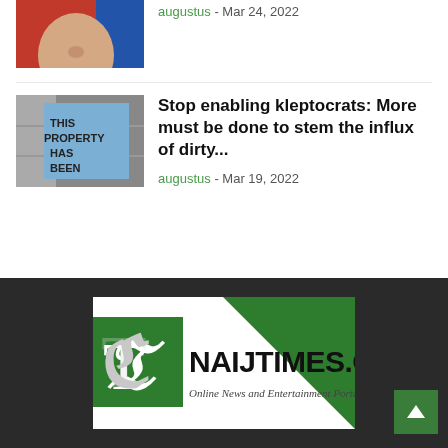[Figure (photo): Partial view of a man's face (appears to be Putin) against a red and blue background, cropped at the top]
augustus - Mar 24, 2022
[Figure (photo): Protest banner on a building reading THIS PROPERTY HAS BEEN... on a light blue banner]
Stop enabling kleptocrats: More must be done to stem the influx of dirty...
augustus - Mar 19, 2022
[Figure (logo): NaijTimes.com logo - Online News and Entertainment Portal, with green and white design and Gothic T symbol]